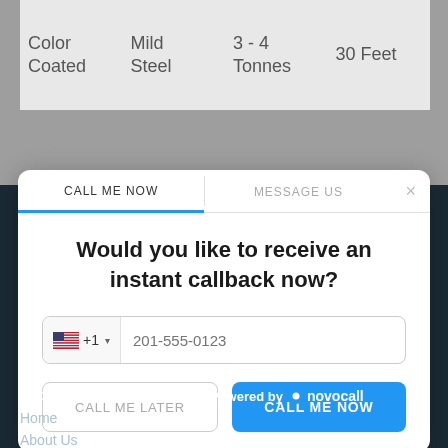| Color
Coated | Mild
Steel | 3 - 4
Tonnes | 30 Feet |
[Figure (screenshot): A modal dialog with two tabs: 'CALL ME NOW' (active, underlined in blue) and 'MESSAGE US', with an X close button. Body shows bold text 'Would you like to receive an instant callback now?' followed by a phone input field with US flag, +1 country code, and placeholder '201-555-0123'. Below are two buttons: 'CALL ME LATER' (outlined) and 'CALL ME NOW' (blue filled).]
Important Links
Powered by 🔵 novocall
Home
About Us